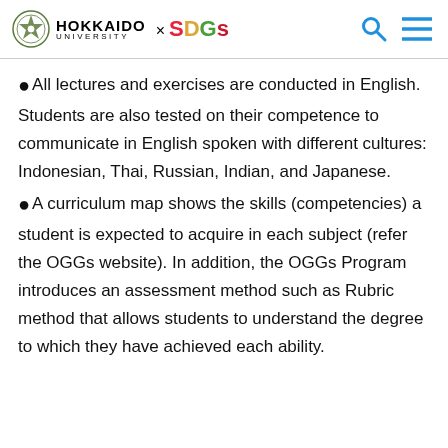HOKKAIDO UNIVERSITY × SDGs
All lectures and exercises are conducted in English. Students are also tested on their competence to communicate in English spoken with different cultures: Indonesian, Thai, Russian, Indian, and Japanese.
A curriculum map shows the skills (competencies) a student is expected to acquire in each subject (refer the OGGs website). In addition, the OGGs Program introduces an assessment method such as Rubric method that allows students to understand the degree to which they have achieved each ability.